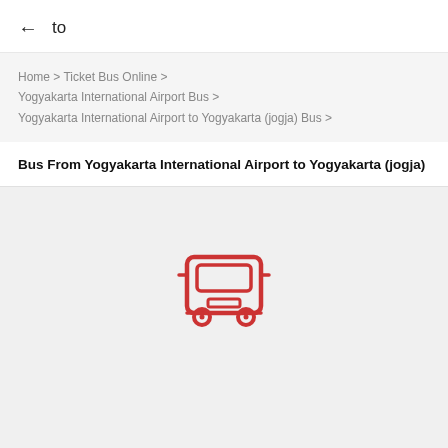← to
Home > Ticket Bus Online >
Yogyakarta International Airport Bus >
Yogyakarta International Airport to Yogyakarta (jogja) Bus >
Bus From Yogyakarta International Airport to Yogyakarta (jogja)
[Figure (illustration): Red bus icon illustration, front view of a bus in red outline style]